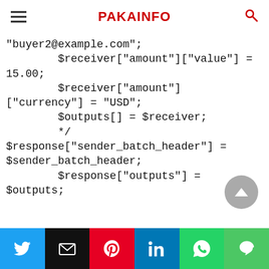PAKAINFO
"buyer2@example.com";
        $receiver["amount"]["value"] =
15.00;
        $receiver["amount"]
["currency"] = "USD";
        $outputs[] = $receiver;
        */
$response["sender_batch_header"] =
$sender_batch_header;
        $response["outputs"] =
$outputs;

        //--- Send payout request